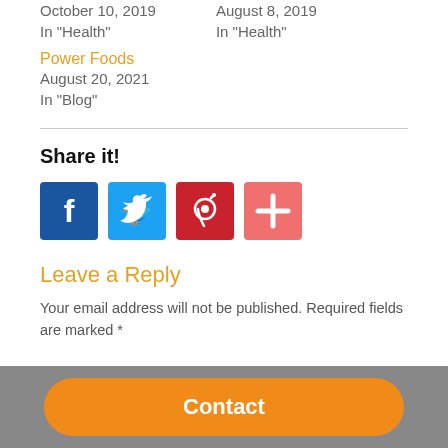October 10, 2019
In "Health"
August 8, 2019
In "Health"
Power Foods
August 20, 2021
In "Blog"
Share it!
[Figure (infographic): Social media share icons: Facebook (blue), Twitter (light blue), Pinterest (red), Plus/More (salmon/pink)]
Leave a Reply
Your email address will not be published. Required fields are marked *
Contact